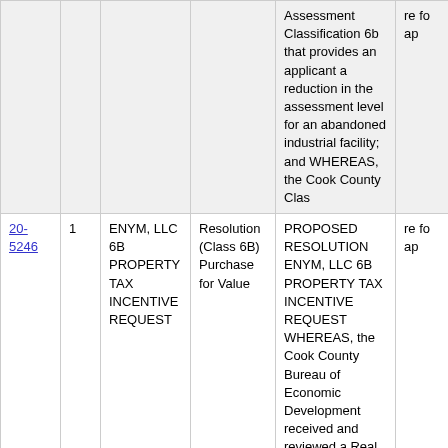| File # | # | Name | Type | Summary | ... |
| --- | --- | --- | --- | --- | --- |
|  |  |  |  | Assessment Classification 6b that provides an applicant a reduction in the assessment level for an abandoned industrial facility; and WHEREAS, the Cook County Clas | re fo ap |
| 20-5246 | 1 | ENYM, LLC 6B PROPERTY TAX INCENTIVE REQUEST | Resolution (Class 6B) Purchase for Value | PROPOSED RESOLUTION ENYM, LLC 6B PROPERTY TAX INCENTIVE REQUEST WHEREAS, the Cook County Bureau of Economic Development received and reviewed a Real Property Assessment Classification 6b application | re fo ap |